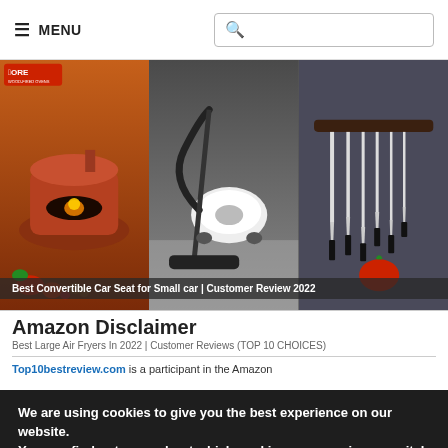≡ MENU [search bar]
[Figure (photo): Three-panel image grid: left panel shows a wood-fired pizza oven with fire and vegetables (FORNO WOOD-FIRED OVENS logo); center panel shows a white canister vacuum cleaner on a floor; right panel shows kitchen knives on a magnetic wall strip with tomatoes.]
Best Convertible Car Seat for Small car | Customer Review 2022
Amazon Disclaimer
Best Large Air Fryers In 2022 | Customer Reviews (TOP 10 CHOICES)
Top10bestreview.com is a participant in the Amazon
We are using cookies to give you the best experience on our website.
You can find out more about which cookies we are using or switch them off in settings.
Accept